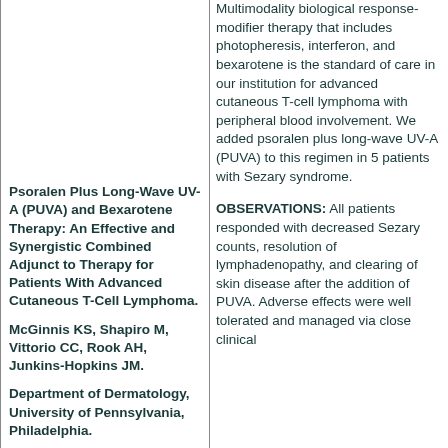Multimodality biological response-modifier therapy that includes photopheresis, interferon, and bexarotene is the standard of care in our institution for advanced cutaneous T-cell lymphoma with peripheral blood involvement. We added psoralen plus long-wave UV-A (PUVA) to this regimen in 5 patients with Sezary syndrome.
Psoralen Plus Long-Wave UV-A (PUVA) and Bexarotene Therapy: An Effective and Synergistic Combined Adjunct to Therapy for Patients With Advanced Cutaneous T-Cell Lymphoma.
McGinnis KS, Shapiro M, Vittorio CC, Rook AH, Junkins-Hopkins JM.
Department of Dermatology, University of Pennsylvania, Philadelphia.
OBSERVATIONS: All patients responded with decreased Sezary counts, resolution of lymphadenopathy, and clearing of skin disease after the addition of PUVA. Adverse effects were well tolerated and managed via close clinical